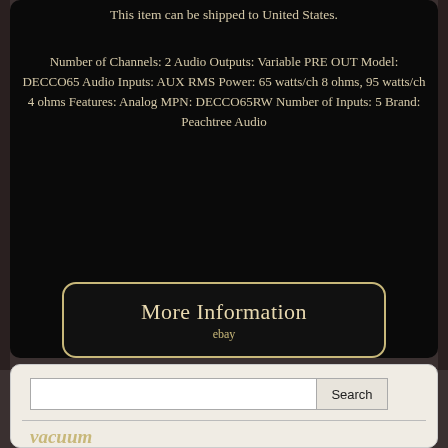This item can be shipped to United States.
Number of Channels: 2 Audio Outputs: Variable PRE OUT Model: DECCO65 Audio Inputs: AUX RMS Power: 65 watts/ch 8 ohms, 95 watts/ch 4 ohms Features: Analog MPN: DECCO65RW Number of Inputs: 5 Brand: Peachtree Audio
[Figure (other): More Information button with ebay label, dark background with gold border]
[Figure (other): View Price button with ebay label, dark background with gold border]
[Figure (other): Facebook Like button (blue)]
[Figure (other): Social sharing icons row: Facebook, Twitter, Pinterest, Email]
[Figure (screenshot): Search bar with text input and Search button]
vacuum